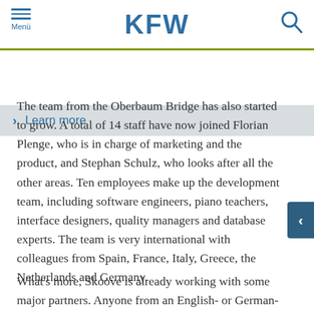KFW | Menü
› Learn more
The team from the Oberbaum Bridge has also started to grow. A total of 14 staff have now joined Florian Plenge, who is in charge of marketing and the product, and Stephan Schulz, who looks after all the other areas. Ten employees make up the development team, including software engineers, piano teachers, interface designers, quality managers and database experts. The team is very international with colleagues from Spain, France, Italy, Greece, the Netherlands and Germany.
What's more, Skoove is already working with some major partners. Anyone from an English- or German-